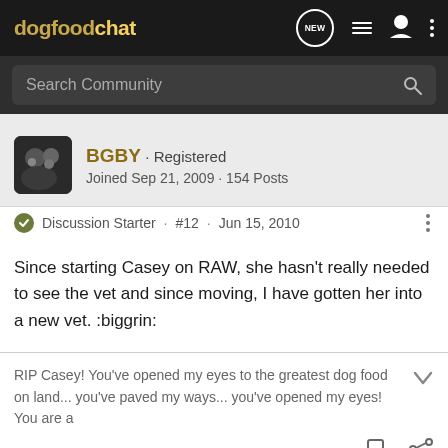dogfoodchat
Search Community
BGBY · Registered
Joined Sep 21, 2009 · 154 Posts
Discussion Starter · #12 · Jun 15, 2010
Since starting Casey on RAW, she hasn't really needed to see the vet and since moving, I have gotten her into a new vet. :biggrin:
RIP Casey! You've opened my eyes to the greatest dog food on land... you've paved my ways... you've opened my eyes! You are a